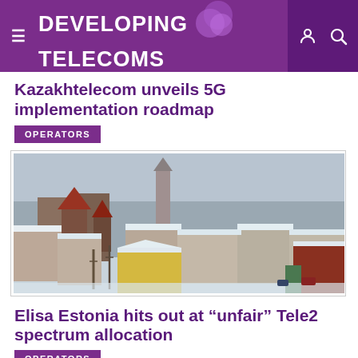DEVELOPING TELECOMS
Kazakhtelecom unveils 5G implementation roadmap
OPERATORS
[Figure (photo): Aerial winter view of Tallinn old town with snow-covered rooftops and church spires]
Elisa Estonia hits out at “unfair” Tele2 spectrum allocation
OPERATORS